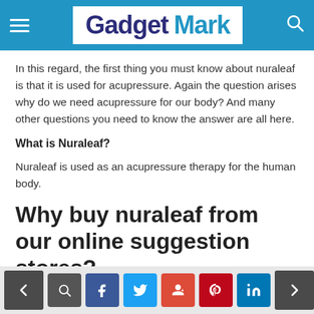Gadget Mark
In this regard, the first thing you must know about nuraleaf is that it is used for acupressure. Again the question arises why do we need acupressure for our body? And many other questions you need to know the answer are all here.
What is Nuraleaf?
Nuraleaf is used as an acupressure therapy for the human body.
Why buy nuraleaf from our online suggestion stores?
< [comment] [f] [t] [g+] [p] [in] >